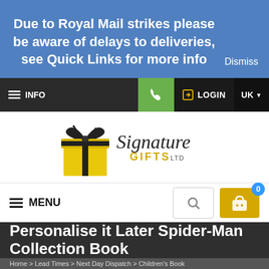Due to Royal Mail strikes please be aware of delays to deliveries, see Quick Links for more info
Dismiss
INFO | Phone | LOGIN | UK
[Figure (logo): Signature Gifts Ltd logo with yellow gift box and cursive text]
MENU
Personalise it Later Spider-Man Collection Book
Home > Lead Times > Next Day Dispatch > Children's Book